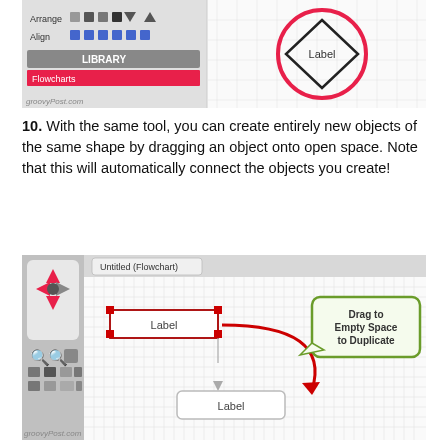[Figure (screenshot): Top screenshot showing Arrange/Align toolbar on left and a diamond shape with 'Label' inside a pink circle on the right, with groovyPost.com watermark]
10. With the same tool, you can create entirely new objects of the same shape by dragging an object onto open space. Note that this will automatically connect the objects you create!
[Figure (screenshot): Bottom screenshot showing a flowchart application with a 'Label' rectangle selected (with red handles) on the left panel, an arrow curving to a 'Label' rounded rectangle below and to the right, and a green speech bubble callout saying 'Drag to Empty Space to Duplicate'. Title bar shows 'Untitled (Flowchart)'. groovyPost.com watermark at bottom.]